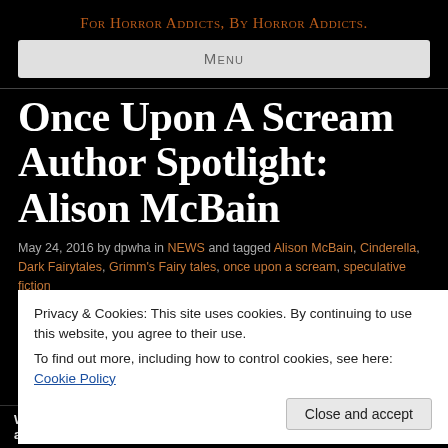For Horror Addicts, By Horror Addicts.
Menu
Once Upon A Scream Author Spotlight: Alison McBain
May 24, 2016 by dpwha in NEWS and tagged Alison McBain, Cinderella, Dark Fairytales, Grimm's Fairy tales, once upon a scream, speculative fiction
Privacy & Cookies: This site uses cookies. By continuing to use this website, you agree to their use.
To find out more, including how to control cookies, see here: Cookie Policy
What is your story in Once Upon A Scream called and what is it about?